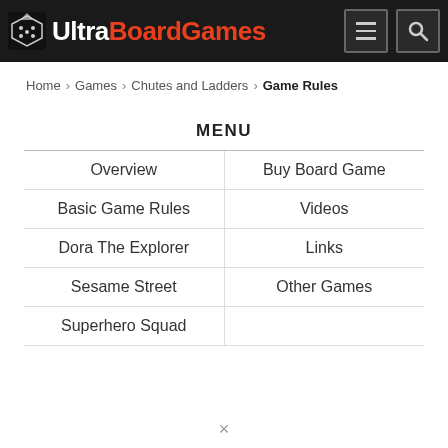UltraBoardGames
Home › Games › Chutes and Ladders › Game Rules
MENU
Overview
Buy Board Game
Basic Game Rules
Videos
Dora The Explorer
Links
Sesame Street
Other Games
Superhero Squad